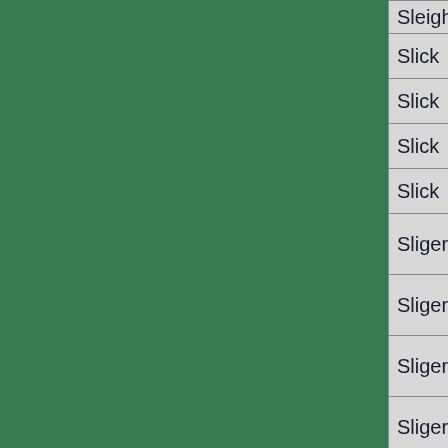| Last Name | First Name | Year |  |
| --- | --- | --- | --- |
| Sleighter | Nicholas | 1896 | 1 |
| Slick | Caleb | 1842 | 4 |
| Slick | Jacob W. | 1883 | 1 |
| Slick | John | 1862 | 3 |
| Slick | William | 1847 | 2 |
| Sliger | Catharine | 1864 | 8 |
| Sliger | Daniel | 1873 | 1 |
| Sliger | George | 1854 | 5 |
| Sliger | Jacob | 1897 | 1 |
| Sloan | Samuel | 1856 | 2 |
| Slonaker | Nancy | 1881 | 2 |
| Smith | A. S. (Dr.) | 1872 | 7 |
| Smith | Abraham | 1881 | 3 |
| Smith | Adam | 1847 | 6 |
| Smith | ... | 1880s |  |